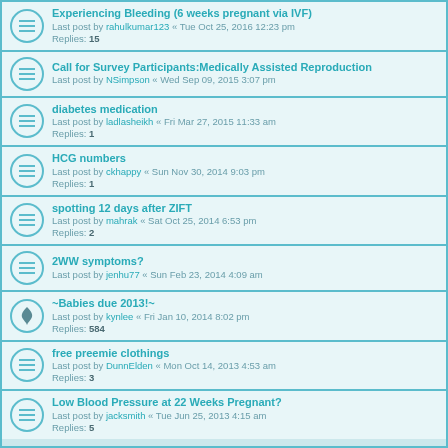Experiencing Bleeding (6 weeks pregnant via IVF)
Last post by rahulkumar123 « Tue Oct 25, 2016 12:23 pm
Replies: 15
Call for Survey Participants:Medically Assisted Reproduction
Last post by NSimpson « Wed Sep 09, 2015 3:07 pm
diabetes medication
Last post by ladlasheikh « Fri Mar 27, 2015 11:33 am
Replies: 1
HCG numbers
Last post by ckhappy « Sun Nov 30, 2014 9:03 pm
Replies: 1
spotting 12 days after ZIFT
Last post by mahrak « Sat Oct 25, 2014 6:53 pm
Replies: 2
2WW symptoms?
Last post by jenhu77 « Sun Feb 23, 2014 4:09 am
~Babies due 2013!~
Last post by kynlee « Fri Jan 10, 2014 8:02 pm
Replies: 584
free preemie clothings
Last post by DunnElden « Mon Oct 14, 2013 4:53 am
Replies: 3
Low Blood Pressure at 22 Weeks Pregnant?
Last post by jacksmith « Tue Jun 25, 2013 4:15 am
Replies: 5